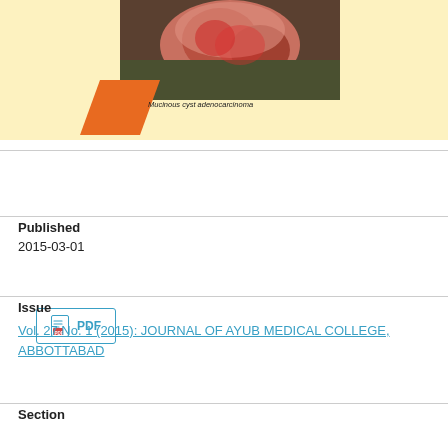[Figure (photo): Medical photograph of a mucinous cyst adenocarcinoma specimen, shown on a yellow/cream background with a decorative orange parallelogram shape. Caption reads: Mucinous cyst adenocarcinoma]
Mucinous cyst adenocarcinoma
PDF
Published
2015-03-01
Issue
Vol. 27 No. 1 (2015): JOURNAL OF AYUB MEDICAL COLLEGE, ABBOTTABAD
Section